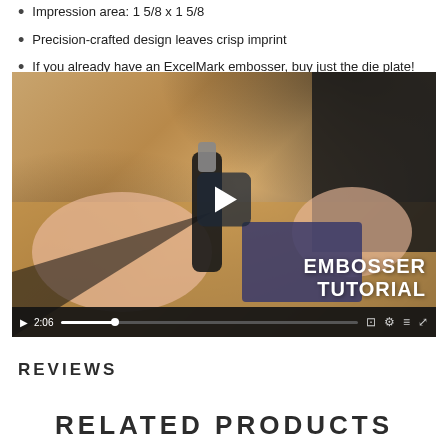Impression area: 1 5/8 x 1 5/8
Precision-crafted design leaves crisp imprint
If you already have an ExcelMark embosser, buy just the die plate!
[Figure (screenshot): Video thumbnail showing hands using an embosser on a card, with play button overlay. Text reads 'EMBOSSER TUTORIAL'. Video controls show 2:06 duration.]
REVIEWS
RELATED PRODUCTS